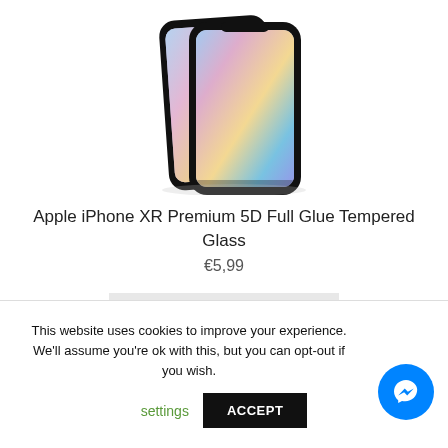[Figure (photo): Product photo of Apple iPhone XR Premium 5D Full Glue Tempered Glass screen protector, showing two black-framed glass protectors against a white background]
Apple iPhone XR Premium 5D Full Glue Tempered Glass
€5,99
Add to basket
This website uses cookies to improve your experience. We'll assume you're ok with this, but you can opt-out if you wish.
settings
ACCEPT